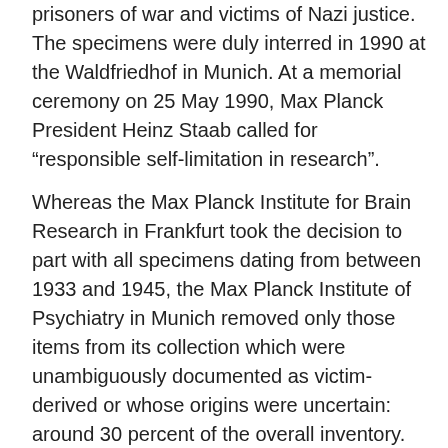prisoners of war and victims of Nazi justice. The specimens were duly interred in 1990 at the Waldfriedhof in Munich. At a memorial ceremony on 25 May 1990, Max Planck President Heinz Staab called for “responsible self-limitation in research”.
Whereas the Max Planck Institute for Brain Research in Frankfurt took the decision to part with all specimens dating from between 1933 and 1945, the Max Planck Institute of Psychiatry in Munich removed only those items from its collection which were unambiguously documented as victim-derived or whose origins were uncertain: around 30 percent of the overall inventory. In 2015, a new employee at the Max Planck Society archive in Berlin came across a shoebox-sized wooden card index case containing slides bearing human brain sections (press release of 9 April 2015). The 100 or so specimens relating to 35 cases dating from between 1938 and 1967